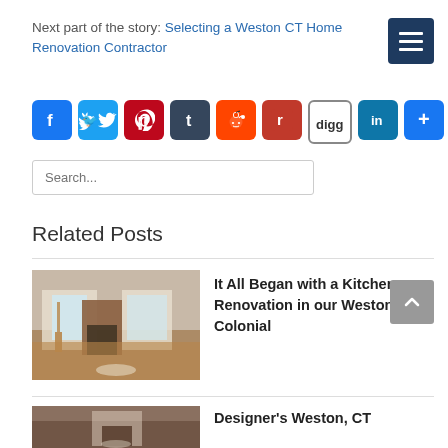Next part of the story: Selecting a Weston CT Home Renovation Contractor
[Figure (infographic): Social sharing icons: Facebook, Twitter, Pinterest, Tumblr, Reddit, Flipboard, Digg, LinkedIn, More]
Search...
Related Posts
[Figure (photo): Interior room with hardwood floors, fireplace, and windows]
It All Began with a Kitchen Renovation in our Weston, CT Colonial
[Figure (photo): Interior room photo for Designer's Weston, CT post]
Designer's Weston, CT